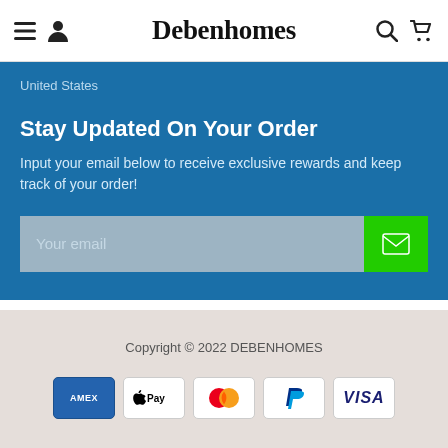≡  👤  Debenhomes  🔍  🛒
United States
Stay Updated On Your Order
Input your email below to receive exclusive rewards and keep track of your order!
[Figure (other): Email input field with placeholder 'Your email' and a green submit button with envelope icon]
Copyright © 2022 DEBENHOMES
[Figure (other): Payment method icons: American Express, Apple Pay, Mastercard, PayPal, Visa]